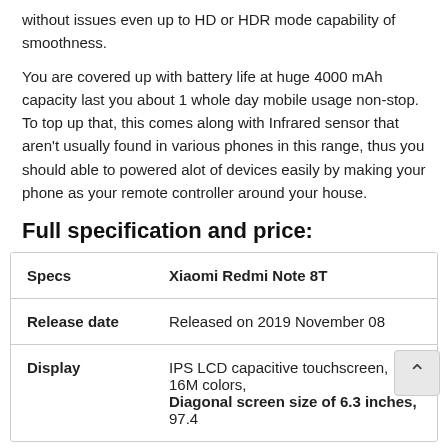without issues even up to HD or HDR mode capability of smoothness.
You are covered up with battery life at huge 4000 mAh capacity last you about 1 whole day mobile usage non-stop. To top up that, this comes along with Infrared sensor that aren't usually found in various phones in this range, thus you should able to powered alot of devices easily by making your phone as your remote controller around your house.
Full specification and price:
| Specs | Xiaomi Redmi Note 8T |
| --- | --- |
| Release date | Released on 2019 November 08 |
| Display | IPS LCD capacitive touchscreen, 16M colors,
Diagonal screen size of 6.3 inches, 97.4 |